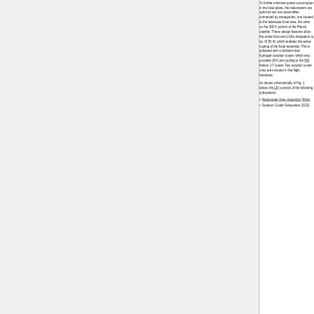To further minimise power consumption in the focal plane, the radiometers are split into two sub-assemblies connected by waveguides, one located at the telescope focal area, the other on the 300 K portion of the Planck satellite. These design features allow the entire front-end LNAs dissipation to be <0.55 W, which enables the active cooling of the focal assembly. This is achieved with a vibration-less hydrogen sorption cooler, which also provides 18 K pre-cooling to the HFI helium J-T cooler. Two sorption cooler units are included in the flight hardware.
As shown schematically in Fig. 1 below, the LFI consists of the following subsystems:
Radiometer Array Assembly (RAA)
Sorption Cooler Subsystem (SCS)